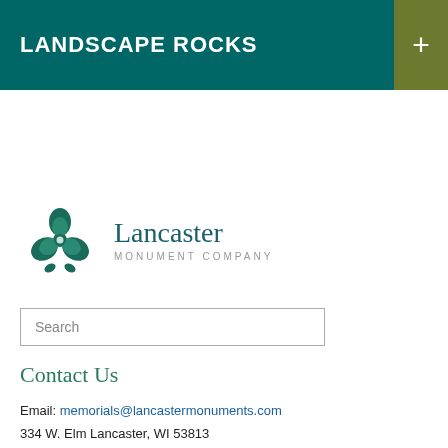LANDSCAPE ROCKS
[Figure (logo): Lancaster Monument Company logo with teal triquetra-style floral emblem and company name]
Search
Contact Us
Email: memorials@lancastermonuments.com
334 W. Elm Lancaster, WI 53813
Phone: 608-723-4537
Fax: 608-723-5458